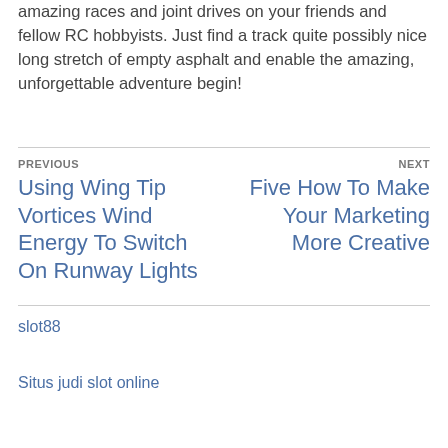amazing races and joint drives on your friends and fellow RC hobbyists. Just find a track quite possibly nice long stretch of empty asphalt and enable the amazing, unforgettable adventure begin!
PREVIOUS
Using Wing Tip Vortices Wind Energy To Switch On Runway Lights
NEXT
Five How To Make Your Marketing More Creative
slot88
Situs judi slot online